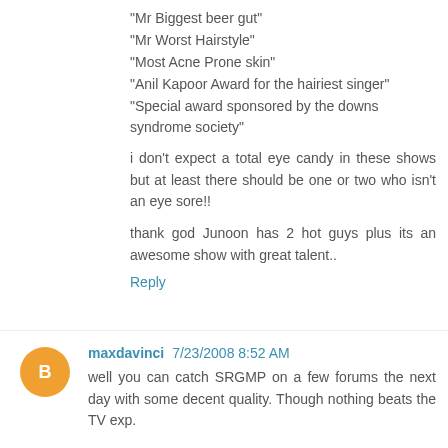"Mr Biggest beer gut"
"Mr Worst Hairstyle"
"Most Acne Prone skin"
"Anil Kapoor Award for the hairiest singer"
"Special award sponsored by the downs syndrome society"
i don't expect a total eye candy in these shows but at least there should be one or two who isn't an eye sore!!
thank god Junoon has 2 hot guys plus its an awesome show with great talent..
Reply
maxdavinci 7/23/2008 8:52 AM
well you can catch SRGMP on a few forums the next day with some decent quality. Though nothing beats the TV exp.
thoda adjust karna padega. But then anything is worth Shankar taking on himes bhai.